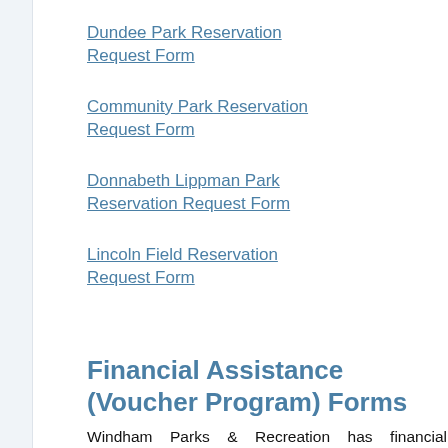Dundee Park Reservation Request Form
[Figure (screenshot): Dark button with monitor icon and text 'VIEW ONLINE CODE']
Community Park Reservation Request Form
Donnabeth Lippman Park Reservation Request Form
Lincoln Field Reservation Request Form
Financial Assistance (Voucher Program) Forms
Windham Parks & Recreation has financial assistance available for our